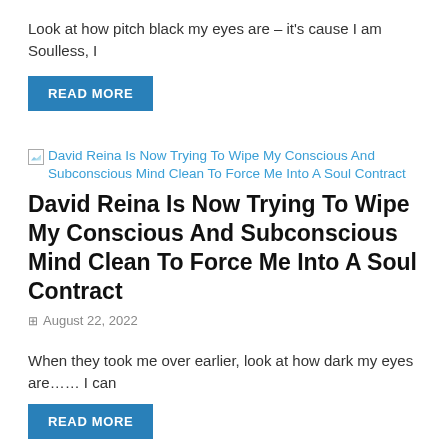Look at how pitch black my eyes are – it's cause I am Soulless, I
READ MORE
[Figure (other): Broken image placeholder with alt text: David Reina Is Now Trying To Wipe My Conscious And Subconscious Mind Clean To Force Me Into A Soul Contract]
David Reina Is Now Trying To Wipe My Conscious And Subconscious Mind Clean To Force Me Into A Soul Contract
August 22, 2022
When they took me over earlier, look at how dark my eyes are…… I can
READ MORE